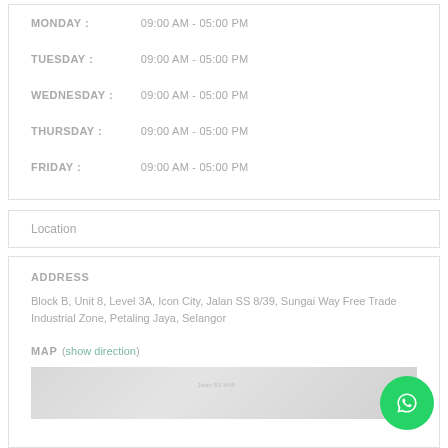MONDAY : 09:00 AM - 05:00 PM
TUESDAY : 09:00 AM - 05:00 PM
WEDNESDAY : 09:00 AM - 05:00 PM
THURSDAY : 09:00 AM - 05:00 PM
FRIDAY : 09:00 AM - 05:00 PM
Location
ADDRESS
Block B, Unit 8, Level 3A, Icon City, Jalan SS 8/39, Sungai Way Free Trade Industrial Zone, Petaling Jaya, Selangor
MAP (show direction)